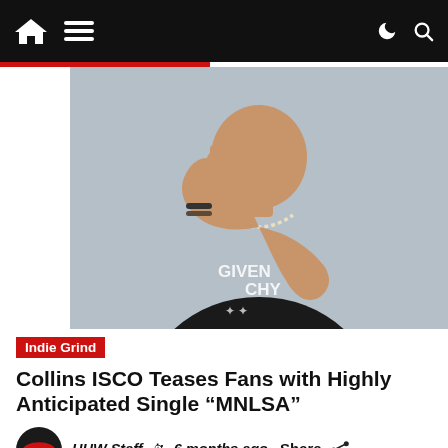Navigation bar with home icon, menu icon, dark mode icon, and search icon
[Figure (photo): A person wearing a black Givenchy t-shirt, diamond chain necklace, and beaded bracelet, posing with hand raised near chin against a light gray background]
Indie Grind
Collins ISCO Teases Fans with Highly Anticipated Single “MNLSA”
HHW Staff  6 months ago  Share